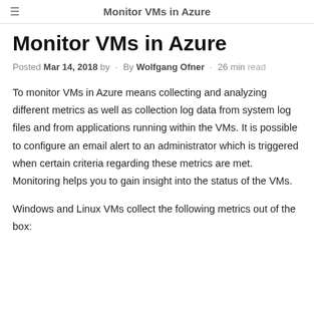Monitor VMs in Azure
Monitor VMs in Azure
Posted Mar 14, 2018 by · By Wolfgang Ofner · 26 min read
To monitor VMs in Azure means collecting and analyzing different metrics as well as collection log data from system log files and from applications running within the VMs. It is possible to configure an email alert to an administrator which is triggered when certain criteria regarding these metrics are met. Monitoring helps you to gain insight into the status of the VMs.
Windows and Linux VMs collect the following metrics out of the box: